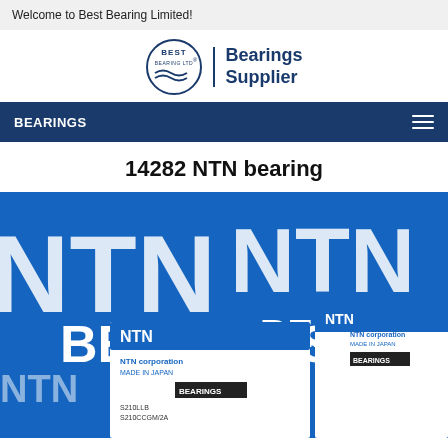Welcome to Best Bearing Limited!
[Figure (logo): Best Bearing Ltd circular logo with wave design and text 'BEST BEARING LTD', followed by a vertical divider and bold text 'Bearings Supplier']
BEARINGS
14282 NTN bearing
[Figure (photo): Photo of NTN Bearings product boxes stacked together, showing 'NTN Corporation MADE IN JAPAN' branding and model numbers including S210LLB S210CCGM/2A on white and blue boxes]